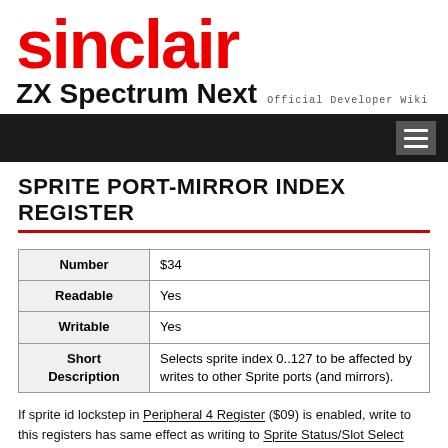sinclair ZX Spectrum Next Official Developer Wiki
SPRITE PORT-MIRROR INDEX REGISTER
|  |  |
| --- | --- |
| Number | $34 |
| Readable | Yes |
| Writable | Yes |
| Short Description | Selects sprite index 0..127 to be affected by writes to other Sprite ports (and mirrors). |
If sprite id lockstep in Peripheral 4 Register ($09) is enabled, write to this registers has same effect as writing to Sprite Status/Slot Select ($303B / 12347).
...